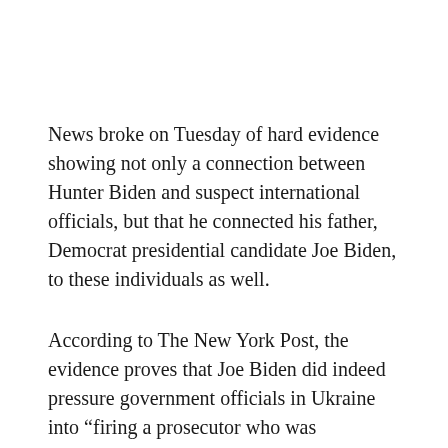News broke on Tuesday of hard evidence showing not only a connection between Hunter Biden and suspect international officials, but that he connected his father, Democrat presidential candidate Joe Biden, to these individuals as well.
According to The New York Post, the evidence proves that Joe Biden did indeed pressure government officials in Ukraine into “firing a prosecutor who was investigating the company, according to emails obtained by The Post.”